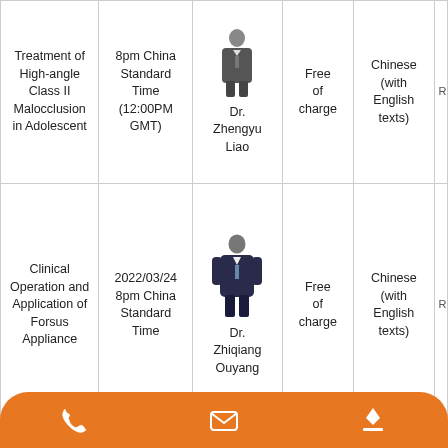| Topic | Date/Time | Speaker | Fee | Language | Register |
| --- | --- | --- | --- | --- | --- |
| Treatment of High-angle Class II Malocclusion in Adolescent | 8pm China Standard Time (12:00PM GMT) | Dr. Zhengyu Liao | Free of charge | Chinese (with English texts) | R... |
| Clinical Operation and Application of Forsus Appliance | 2022/03/24 8pm China Standard Time | Dr. Zhiqiang Ouyang | Free of charge | Chinese (with English texts) | R... |
| Correcting Skeletal Class II | 2022/03/17 | [photo] | [partial] | Chinese (with... |  |